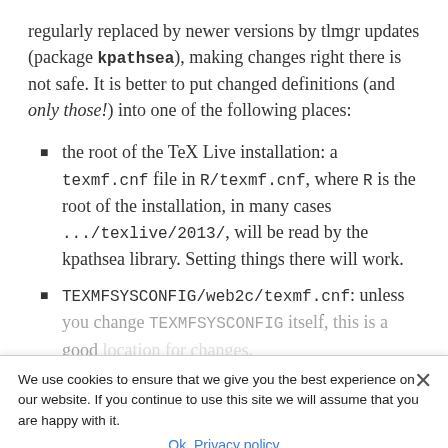regularly replaced by newer versions by tlmgr updates (package kpathsea), making changes right there is not safe. It is better to put changed definitions (and only those!) into one of the following places:
the root of the TeX Live installation: a texmf.cnf file in R/texmf.cnf, where R is the root of the installation, in many cases .../texlive/2013/, will be read by the kpathsea library. Setting things there will work.
TEXMFSYSCONFIG/web2c/texmf.cnf: unless you change TEXMFSYSCONFIG itself, this is a good location for changes.
Debian example
As an example I will give the changes I made for the Debian
We use cookies to ensure that we give you the best experience on our website. If you continue to use this site we will assume that you are happy with it.